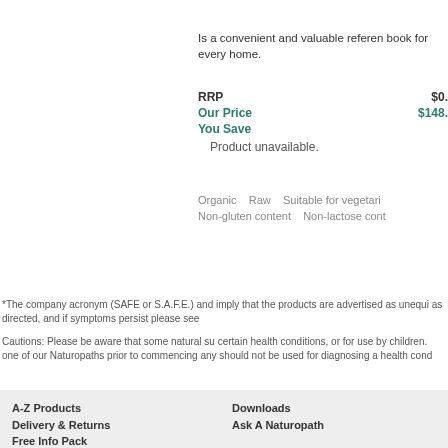Is a convenient and valuable reference book for every home.
RRP $0.
Our Price $148.
You Save
Product unavailable.
Organic   Raw   Suitable for vegetari
Non-gluten content   Non-lactose cont
*The company acronym (SAFE or S.A.F.E.) and imply that the products are advertised as unequi as directed, and if symptoms persist please see
Cautions: Please be aware that some natural su certain health conditions, or for use by children. one of our Naturopaths prior to commencing any should not be used for diagnosing a health cond
A-Z Products
Delivery & Returns
Free Info Pack
Downloads
Ask A Naturopath